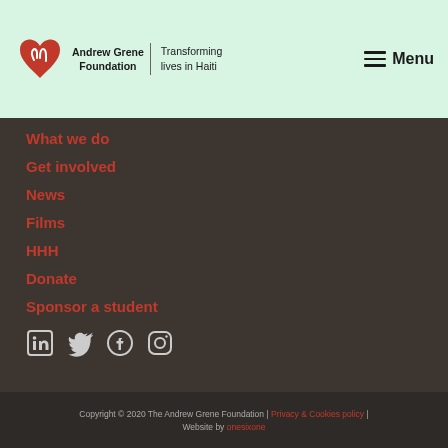[Figure (logo): Andrew Grene Foundation logo with red heart/hands icon and text 'Andrew Grene Foundation | Transforming lives in Haiti']
What we do
Get involved
News
Films
HHH
Donate
Sponsor a student
[Figure (infographic): Social media icons: LinkedIn, Twitter, Facebook, Instagram]
Copyright © 2020 The Andrew Grene Foundation | Privacy & Cookies policy | Website by onesixone